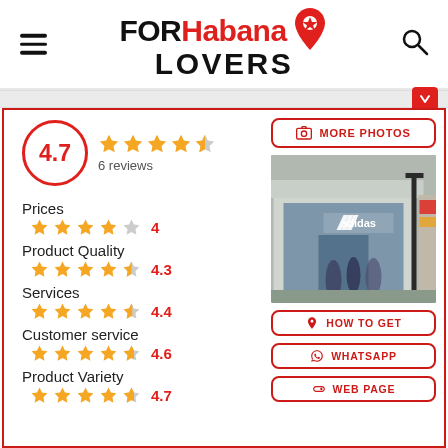FOR Habana LOVERS
[Figure (screenshot): Business listing card for an Adidas store, showing ratings by category (Prices 4, Product Quality 4.3, Services 4.4, Customer service 4.6, Product Variety 4.7), overall rating 4.7 with 6 reviews, a photo of an Adidas store front, and action buttons: MORE PHOTOS, HOW TO GET, WHATSAPP, WEB PAGE.]